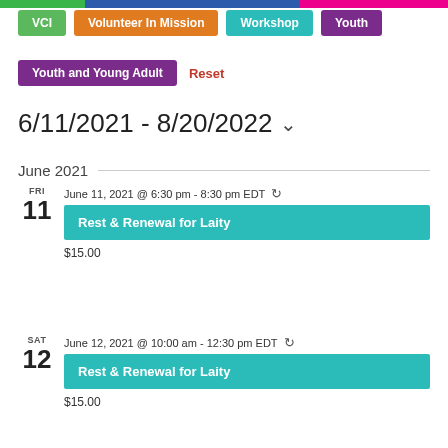VCI | Volunteer In Mission | Workshop | Youth
Youth and Young Adult | Reset
6/11/2021 - 8/20/2022
June 2021
FRI 11 — June 11, 2021 @ 6:30 pm - 8:30 pm EDT — Rest & Renewal for Laity — $15.00
SAT 12 — June 12, 2021 @ 10:00 am - 12:30 pm EDT — Rest & Renewal for Laity — $15.00